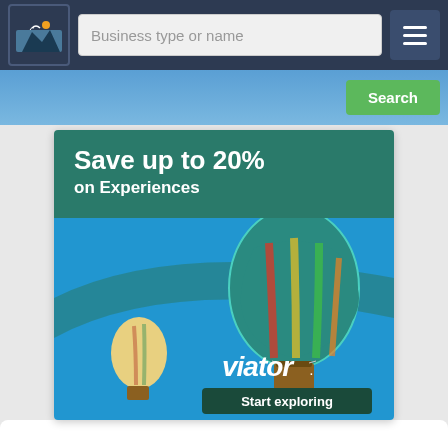Business type or name
[Figure (screenshot): Viator advertisement banner showing hot air balloons with text 'Save up to 20% on Experiences' and 'Start exploring' button]
Book Direct with the Owner at Glen Innes NSW with our Accommodation BNB Agent in Glen Innes for all your holiday and travel needs.